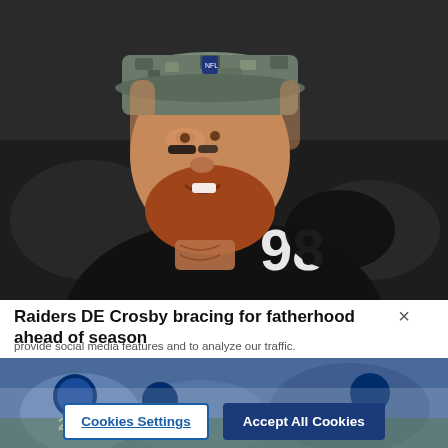[Figure (photo): NFL player wearing Raiders #98 black jersey and camo cap with eye black, red beard, tattoos on neck, smiling, stadium background]
Raiders DE Crosby bracing for fatherhood ahead of season
provide social media features and to analyze our traffic. We also share information about your use of our site with our social media, advertising and analytics partners. Privacy Policy
By using our social media advertising and analytics
[Figure (photo): Football players on field, partially obscured by cookie consent overlay with Cookies Settings and Accept All Cookies buttons]